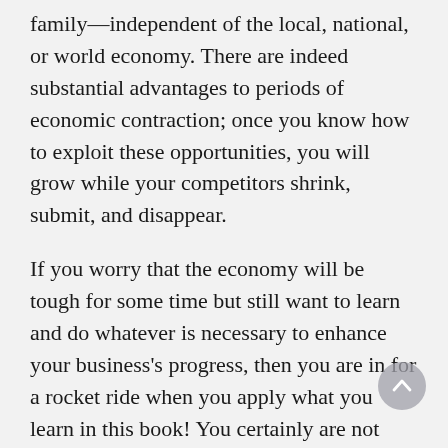family—independent of the local, national, or world economy. There are indeed substantial advantages to periods of economic contraction; once you know how to exploit these opportunities, you will grow while your competitors shrink, submit, and disappear.
If you worry that the economy will be tough for some time but still want to learn and do whatever is necessary to enhance your business's progress, then you are in for a rocket ride when you apply what you learn in this book! You certainly are not alone either; plenty of people are seeking answers during today's challenging times. However, there is a big difference between those who are looking for answers and